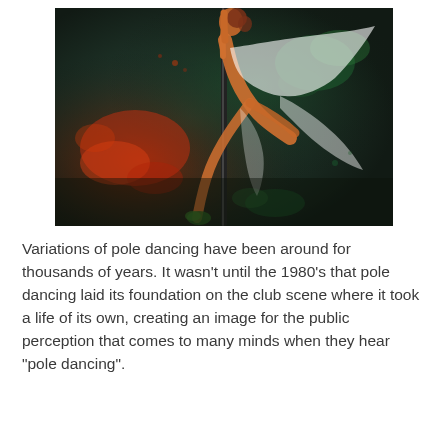[Figure (illustration): Digital artwork of a pole dancer performing an acrobatic pose on a pole, surrounded by colorful paint splash effects in red, green, and dark tones. The dancer is wearing a flowing white garment and is depicted in a dynamic, artistic style.]
Variations of pole dancing have been around for thousands of years. It wasn't until the 1980's that pole dancing laid its foundation on the club scene where it took a life of its own, creating an image for the public perception that comes to many minds when they hear "pole dancing".